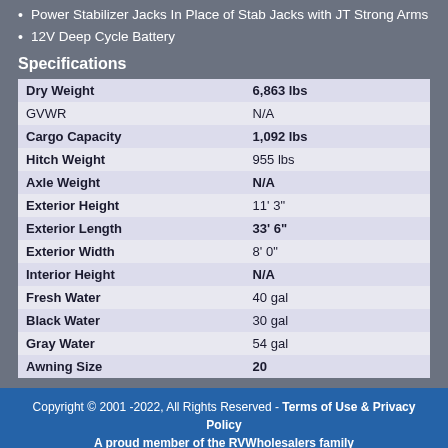Power Stabilizer Jacks In Place of Stab Jacks with JT Strong Arms
12V Deep Cycle Battery
Specifications
| Specification | Value |
| --- | --- |
| Dry Weight | 6,863 lbs |
| GVWR | N/A |
| Cargo Capacity | 1,092 lbs |
| Hitch Weight | 955 lbs |
| Axle Weight | N/A |
| Exterior Height | 11' 3" |
| Exterior Length | 33' 6" |
| Exterior Width | 8' 0" |
| Interior Height | N/A |
| Fresh Water | 40 gal |
| Black Water | 30 gal |
| Gray Water | 54 gal |
| Awning Size | 20 |
Copyright © 2001-2022, All Rights Reserved - Terms of Use & Privacy Policy
A proud member of the RVWholesalers family
rvwholesalers.com is solely owned by RV Wholesalers LLC and is used with permission by Durnell's Indian Hallow RV Sales Inc.
Great Lakes RV Center, Phone: 844-294-9935. http://www.greatlakesrvcenter.com